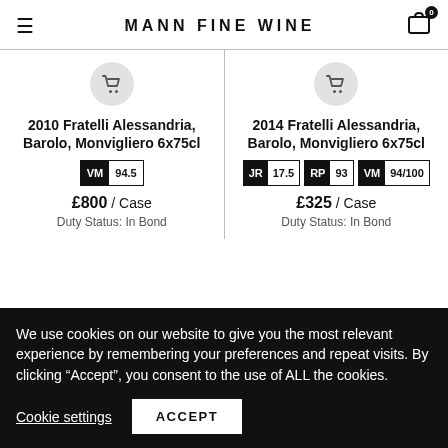MANN FINE WINE
[Figure (other): Product listing: 2010 Fratelli Alessandria, Barolo, Monvigliero 6x75cl. Rating VM 94.5. Price £800 / Case. Duty Status: In Bond.]
[Figure (other): Product listing: 2014 Fratelli Alessandria, Barolo, Monvigliero 6x75cl. Ratings JR 17.5, RP 93, VM 94/100. Price £325 / Case. Duty Status: In Bond.]
We use cookies on our website to give you the most relevant experience by remembering your preferences and repeat visits. By clicking "Accept", you consent to the use of ALL the cookies.
Cookie settings
ACCEPT